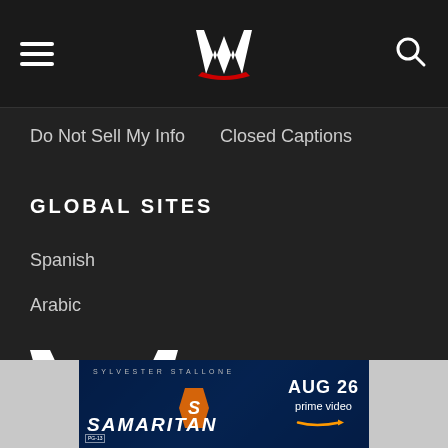WWE navigation header with hamburger menu, WWE logo, and search icon
Do Not Sell My Info
Closed Captions
GLOBAL SITES
Spanish
Arabic
[Figure (logo): WWE logo — large white W with red accent, white outline on dark background]
[Figure (screenshot): Advertisement banner for Amazon Prime Video movie Samaritan starring Sylvester Stallone, Aug 26]